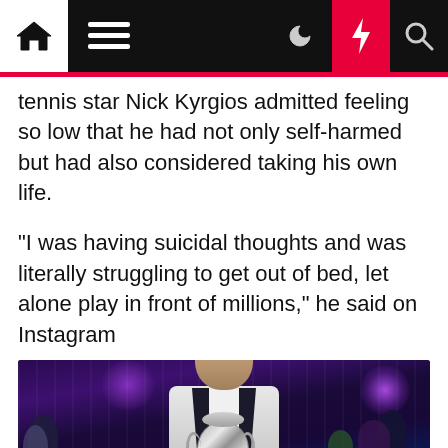[Navigation bar with home icon, menu icon, moon icon, lightning bolt icon, search icon]
tennis star Nick Kyrgios admitted feeling so low that he had not only self-harmed but had also considered taking his own life.
“I was having suicidal thoughts and was literally struggling to get out of bed, let alone play in front of millions,” he said on Instagram
[Figure (photo): Man in a waistcoat smiling behind a large snooker trophy (BETFRED World Snooker Championship trophy) at what appears to be the Crucible Theatre, with a crowd and purple/blue stage lighting in the background and a green snooker table in the foreground.]